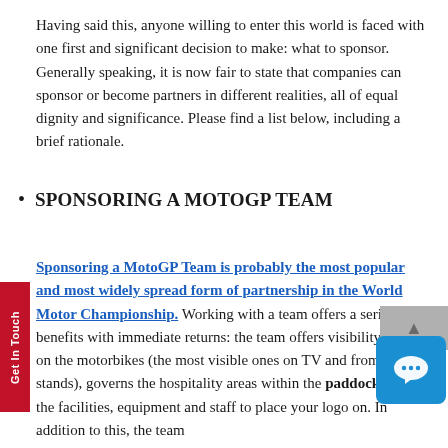Having said this, anyone willing to enter this world is faced with one first and significant decision to make: what to sponsor. Generally speaking, it is now fair to state that companies can sponsor or become partners in different realities, all of equal dignity and significance. Please find a list below, including a brief rationale.
SPONSORING A MOTOGP TEAM
Sponsoring a MotoGP Team is probably the most popular and most widely spread form of partnership in the World Motor Championship. Working with a team offers a series of benefits with immediate returns: the team offers visibility spaces on the motorbikes (the most visible ones on TV and from the stands), governs the hospitality areas within the paddock and has the facilities, equipment and staff to place your logo on. In addition to this, the team offers other advantages that cannot be underestimated.